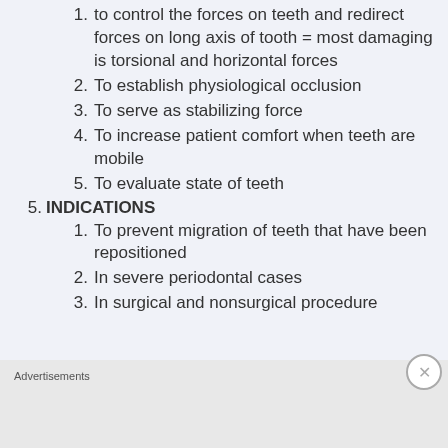to control the forces on teeth and redirect forces on long axis of tooth = most damaging is torsional and horizontal forces
To establish physiological occlusion
To serve as stabilizing force
To increase patient comfort when teeth are mobile
To evaluate state of teeth
INDICATIONS
To prevent migration of teeth that have been repositioned
In severe periodontal cases
In surgical and nonsurgical procedure
Advertisements